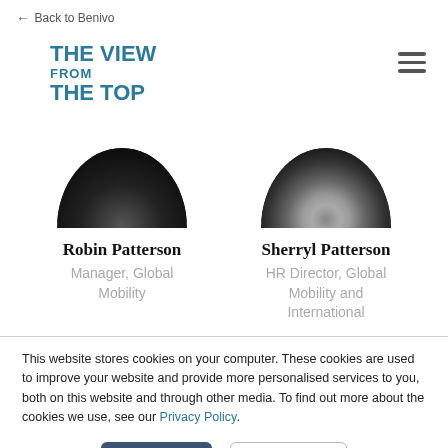← Back to Benivo
THE VIEW FROM THE TOP
[Figure (photo): Circular black-and-white portrait photo of Robin Patterson, cropped to show upper half of circle]
Robin Patterson
Manager, Global Mobility
[Figure (photo): Circular black-and-white portrait photo of Sherryl Patterson, cropped to show upper half of circle]
Sherryl Patterson
HR Director, Global Mobility and International
This website stores cookies on your computer. These cookies are used to improve your website and provide more personalised services to you, both on this website and through other media. To find out more about the cookies we use, see our Privacy Policy.
Accept
Decline